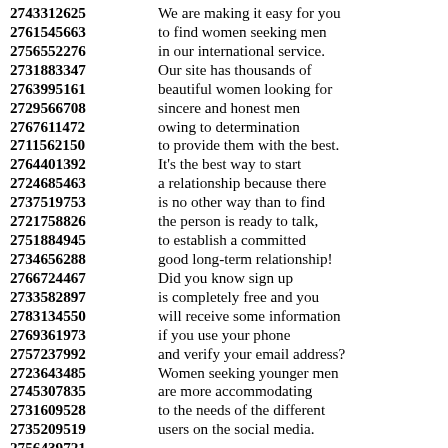2743312625 We are making it easy for you
2761545663 to find women seeking men
2756552276 in our international service.
2731883347 Our site has thousands of
2763995161 beautiful women looking for
2729566708 sincere and honest men
2767611472 owing to determination
2711562150 to provide them with the best.
2764401392 It's the best way to start
2724685463 a relationship because there
2737519753 is no other way than to find
2721758826 the person is ready to talk,
2751884945 to establish a committed
2734656288 good long-term relationship!
2766724467 Did you know sign up
2733582897 is completely free and you
2783134550 will receive some information
2769361973 if you use your phone
2757237992 and verify your email address?
2723643485 Women seeking younger men
2745307835 are more accommodating
2731609528 to the needs of the different
2735209519 users on the social media.
2756439721
2714353107 You need to write down all